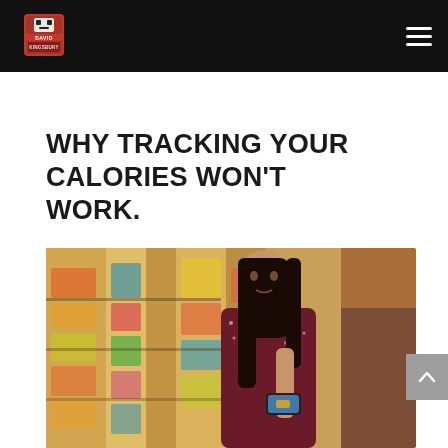David Kingsbury fitness brand header with logo and hamburger menu
WHY TRACKING YOUR CALORIES WON'T WORK.
[Figure (photo): Woman in a grocery store aisle looking at a product label on her phone, wearing a dark floral top, with colorful snack packages on shelves in background]